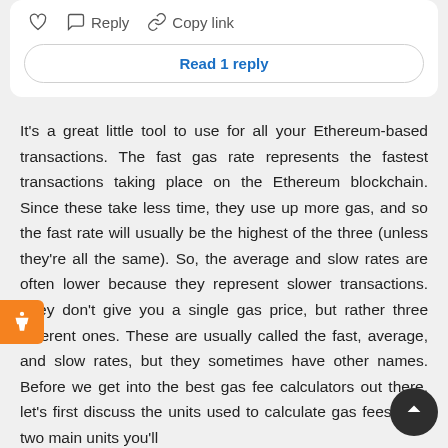[Figure (screenshot): Social media comment action bar with heart/like icon, Reply button with comment bubble icon, and Copy link button with chain link icon]
Read 1 reply
It's a great little tool to use for all your Ethereum-based transactions. The fast gas rate represents the fastest transactions taking place on the Ethereum blockchain. Since these take less time, they use up more gas, and so the fast rate will usually be the highest of the three (unless they're all the same). So, the average and slow rates are often lower because they represent slower transactions. They don't give you a single gas price, but rather three different ones. These are usually called the fast, average, and slow rates, but they sometimes have other names. Before we get into the best gas fee calculators out there, let's first discuss the units used to calculate gas fees. The two main units you'll